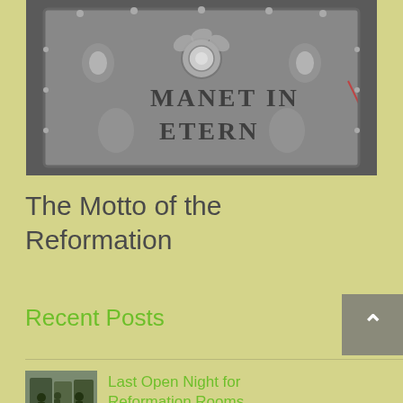[Figure (photo): Black and white close-up photograph of ornate engraved armor or metalwork with the inscription 'MANET IN ETERN' visible among floral decorative motifs]
The Motto of the Reformation
Recent Posts
[Figure (photo): Small thumbnail photo showing people in a museum room or exhibition space, Reformation Rooms]
Last Open Night for Reformation Rooms